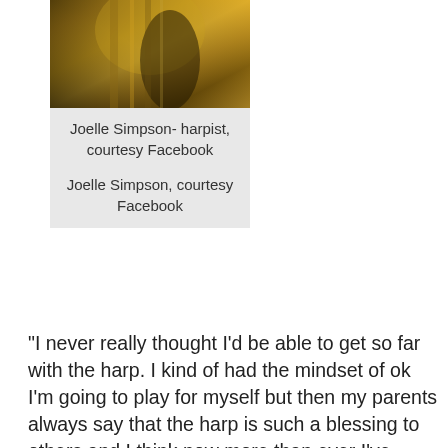[Figure (photo): Photo of Joelle Simpson playing harp, golden/warm tones]
Joelle Simpson- harpist, courtesy Facebook
Joelle Simpson, courtesy Facebook
“I never really thought I’d be able to get so far with the harp. I kind of had the mindset of ok I’m going to play for myself but then my parents always say that the harp is such a blessing to others and I think now more than ever I’ve realized that I can not only do this for myself but also for others. So I think that is important to do, is to help other and so it makes me happy that I’m able to make others a ...